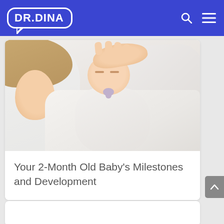DR.DINA
[Figure (photo): A mother lying next to a newborn baby wrapped in white blankets. The mother has her hand on the baby's head. The baby has a pacifier. White pillow background.]
Your 2-Month Old Baby's Milestones and Development